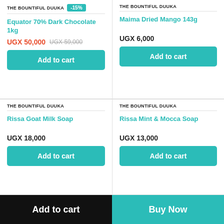THE BOUNTIFUL DUUKA -15%
Equator 70% Dark Chocolate 1kg
UGX 50,000  UGX 59,000
Add to cart
THE BOUNTIFUL DUUKA
Maima Dried Mango 143g
UGX 6,000
Add to cart
THE BOUNTIFUL DUUKA
Rissa Goat Milk Soap
UGX 18,000
Add to cart
THE BOUNTIFUL DUUKA
Rissa Mint & Mocca Soap
UGX 13,000
Add to cart
Add to cart  Buy Now